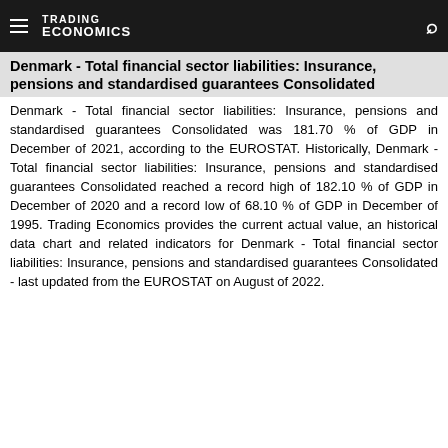TRADING ECONOMICS
Denmark - Total financial sector liabilities: Insurance, pensions and standardised guarantees Consolidated
Denmark - Total financial sector liabilities: Insurance, pensions and standardised guarantees Consolidated was 181.70 % of GDP in December of 2021, according to the EUROSTAT. Historically, Denmark - Total financial sector liabilities: Insurance, pensions and standardised guarantees Consolidated reached a record high of 182.10 % of GDP in December of 2020 and a record low of 68.10 % of GDP in December of 1995. Trading Economics provides the current actual value, an historical data chart and related indicators for Denmark - Total financial sector liabilities: Insurance, pensions and standardised guarantees Consolidated - last updated from the EUROSTAT on August of 2022.